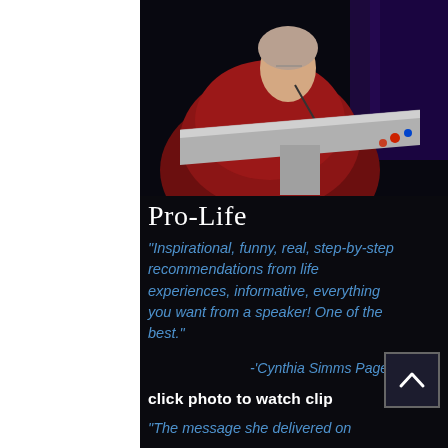[Figure (photo): Woman speaker in red jacket at a glass/acrylic podium on a dark stage with purple background lighting and colored LED lights on the podium]
Pro-Life
"Inspirational, funny, real, step-by-step recommendations from life experiences, informative, everything you want from a speaker! One of the best."
-'Cynthia Simms Page
click photo to watch clip
"The message she delivered on